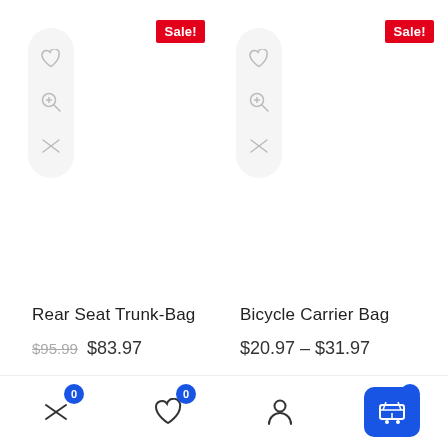[Figure (screenshot): Product card: Rear Seat Trunk-Bag with Sale badge, heart/zoom/compare icons, price $95.99 crossed out, $83.97]
Rear Seat Trunk-Bag
$95.99 $83.97
[Figure (screenshot): Product card: Bicycle Carrier Bag with Sale badge, heart/zoom/compare icons, price range $20.97 - $31.97]
Bicycle Carrier Bag
$20.97 - $31.97
[Figure (screenshot): Bottom row partial product card with Sale badge (left)]
[Figure (screenshot): Bottom row partial product card with Sale badge (right)]
[Figure (infographic): Bottom navigation bar with compare (0), wishlist (0), account, and cart (0) icons]